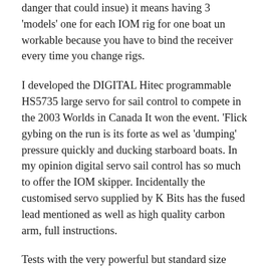danger that could insue) it means having 3 'models' one for each IOM rig for one boat un workable because you have to bind the receiver every time you change rigs.
I developed the DIGITAL Hitec programmable HS5735 large servo for sail control to compete in the 2003 Worlds in Canada It won the event. 'Flick gybing on the run is its forte as wel as 'dumping' pressure quickly and ducking starboard boats. In my opinion digital servo sail control has so much to offer the IOM skipper. Incidentally the customised servo supplied by K Bits has the fused lead mentioned as well as high quality carbon arm, full instructions.
Tests with the very powerful but standard size servos has found they are not as robust and awareness of sheet hangups etc are essential. The